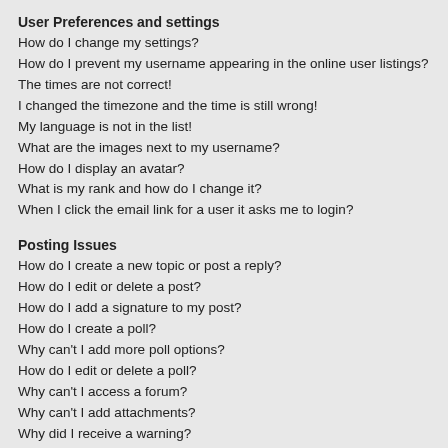User Preferences and settings
How do I change my settings?
How do I prevent my username appearing in the online user listings?
The times are not correct!
I changed the timezone and the time is still wrong!
My language is not in the list!
What are the images next to my username?
How do I display an avatar?
What is my rank and how do I change it?
When I click the email link for a user it asks me to login?
Posting Issues
How do I create a new topic or post a reply?
How do I edit or delete a post?
How do I add a signature to my post?
How do I create a poll?
Why can't I add more poll options?
How do I edit or delete a poll?
Why can't I access a forum?
Why can't I add attachments?
Why did I receive a warning?
How can I report posts to a moderator?
What is the “Save” button for in topic posting?
Why does my post need to be approved?
How do I bump my topic?